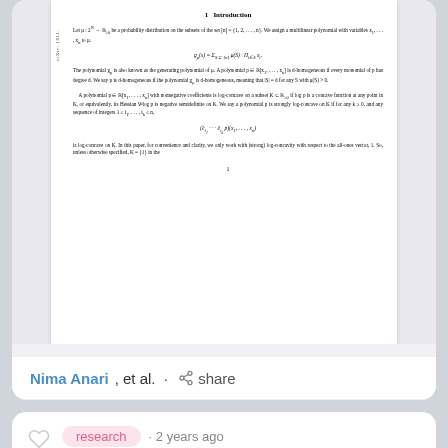[Figure (screenshot): Preview of an academic paper page showing section '1 Introduction' with text about probability distributions and log-concavity, and a mathematical formula. ArXiv label visible on the left side.]
Nima Anari, et al. · share
research · 2 years ago
Spectral Independence in High-Dimensional Expanders and Applications to the Hardcore Model
We say a probability distribution μ is spectrally independent if an asso...